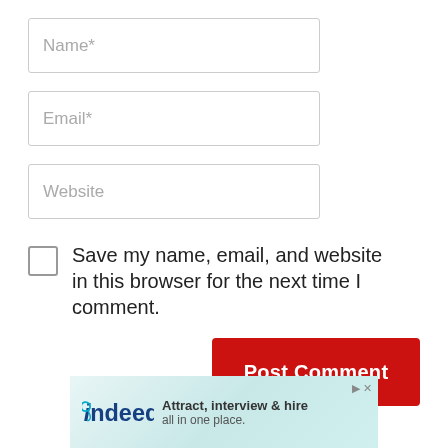[Figure (screenshot): Web form with Name*, Email*, and Website input fields rendered as bordered text boxes with placeholder text]
Save my name, email, and website in this browser for the next time I comment.
[Figure (screenshot): Red Post Comment button]
[Figure (infographic): Indeed advertisement banner: 'Attract, interview & hire all in one place.' with Indeed logo and close/sponsored icons]